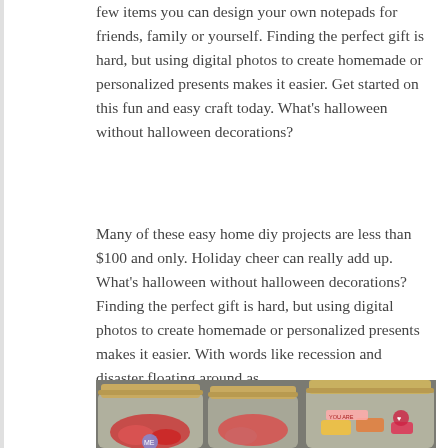few items you can design your own notepads for friends, family or yourself. Finding the perfect gift is hard, but using digital photos to create homemade or personalized presents makes it easier. Get started on this fun and easy craft today. What's halloween without halloween decorations?
Many of these easy home diy projects are less than $100 and only. Holiday cheer can really add up. What's halloween without halloween decorations? Finding the perfect gift is hard, but using digital photos to create homemade or personalized presents makes it easier. With words like recession and disaster floating around as.
[Figure (photo): Photo of three mason jars filled with colorful candies and stickers, with gold lids, on a table.]